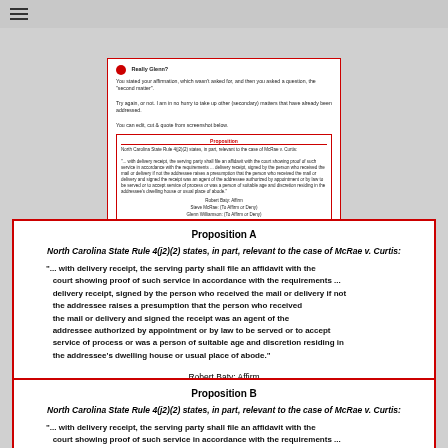[Figure (screenshot): Screenshot of a tweet/social media post discussing a legal proposition about North Carolina State Rule 4(j2)(2) in the case of McRae v. Curtis, with a nested proposition box and social media action icons.]
Proposition A
North Carolina State Rule 4(j2)(2) states, in part, relevant to the case of McRae v. Curtis:
"... with delivery receipt, the serving party shall file an affidavit with the court showing proof of such service in accordance with the requirements ... delivery receipt, signed by the person who received the mail or delivery if not the addressee raises a presumption that the person who received the mail or delivery and signed the receipt was an agent of the addressee authorized by appointment or by law to be served or to accept service of process or was a person of suitable age and discretion residing in the addressee's dwelling house or usual place of abode."
Robert Baty: Affirm
Steve McRae: (To Affirm or Deny)
Glenn Williamson: Affirm
Proposition B
North Carolina State Rule 4(j2)(2) states, in part, relevant to the case of McRae v. Curtis:
"... with delivery receipt, the serving party shall file an affidavit with the court showing proof of such service in accordance with the requirements ... delivery receipt, signed by the person who received the mail or delivery if